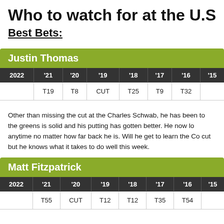Who to watch for at the U.S. O
Best Bets:
| 2022 | '21 | '20 | '19 | '18 | '17 | '16 | '15 |
| --- | --- | --- | --- | --- | --- | --- | --- |
|  | T19 | T8 | CUT | T25 | T9 | T32 |  |
Other than missing the cut at the Charles Schwab, he has been to the greens is solid and his putting has gotten better. He now lo anytime no matter how far back he is. Will he get to learn the Co cut but he knows what it takes to do well this week.
| 2022 | '21 | '20 | '19 | '18 | '17 | '16 | '15 |
| --- | --- | --- | --- | --- | --- | --- | --- |
|  | T55 | CUT | T12 | T12 | T35 | T54 |  |